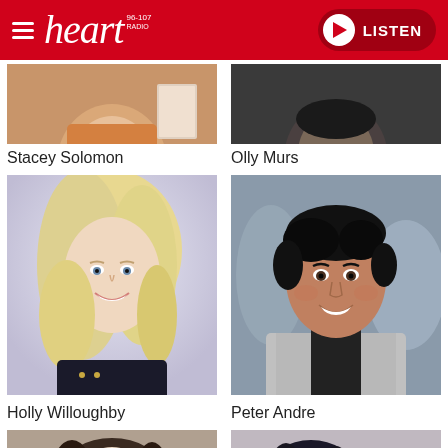heart 96-107 — LISTEN
[Figure (photo): Partial photo of Stacey Solomon (top, cropped)]
Stacey Solomon
[Figure (photo): Partial photo of Olly Murs (top, cropped)]
Olly Murs
[Figure (photo): Photo of Holly Willoughby smiling, blonde hair]
Holly Willoughby
[Figure (photo): Photo of Peter Andre smiling, dark hair, grey jacket]
Peter Andre
[Figure (photo): Partial photo of a woman at bottom left (cropped)]
[Figure (photo): Partial photo of a person at bottom right (cropped)]